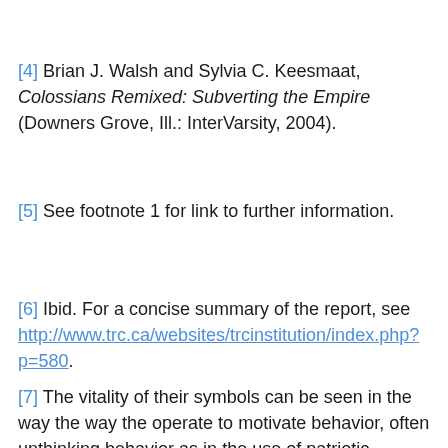[4] Brian J. Walsh and Sylvia C. Keesmaat, Colossians Remixed: Subverting the Empire (Downers Grove, Ill.: InterVarsity, 2004).
[5] See footnote 1 for link to further information.
[6] Ibid. For a concise summary of the report, see http://www.trc.ca/websites/trcinstitution/index.php?p=580.
[7] The vitality of their symbols can be seen in the way the way the operate to motivate behavior, often unthinking behavior as in the use of patriotic symbols in